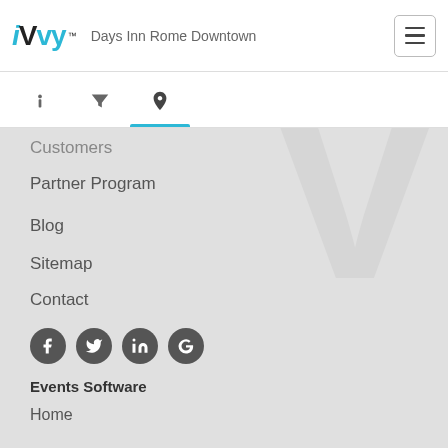iVvy - Days Inn Rome Downtown
[Figure (screenshot): Navigation tab bar with info (i), filter, and map pin icons; map pin tab is active with blue underline]
Customers (partially visible)
Partner Program
Blog
Sitemap
Contact
[Figure (infographic): Social media icons row: Facebook, Twitter, LinkedIn, Google]
Events Software
Home
Highlights
Event Registrations
Event Management